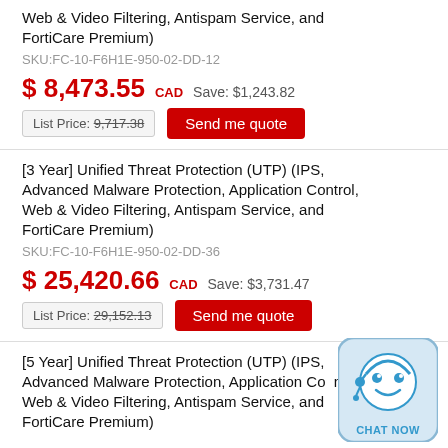Web & Video Filtering, Antispam Service, and FortiCare Premium)
SKU:FC-10-F6H1E-950-02-DD-12
$ 8,473.55 CAD   Save: $1,243.82
List Price: 9,717.38
Send me quote
[3 Year] Unified Threat Protection (UTP) (IPS, Advanced Malware Protection, Application Control, Web & Video Filtering, Antispam Service, and FortiCare Premium)
SKU:FC-10-F6H1E-950-02-DD-36
$ 25,420.66 CAD   Save: $3,731.47
List Price: 29,152.13
Send me quote
[5 Year] Unified Threat Protection (UTP) (IPS, Advanced Malware Protection, Application Control, Web & Video Filtering, Antispam Service, and FortiCare Premium)
[Figure (illustration): Chat Now widget with robot face icon and CHAT NOW label]